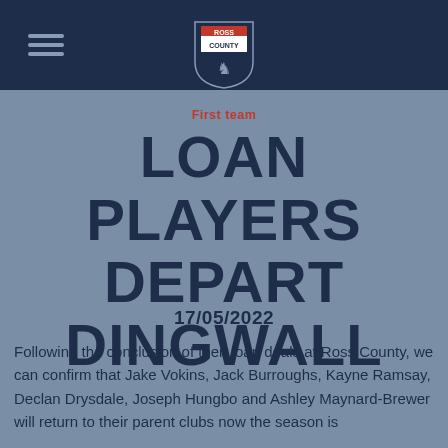Ross County FC website header with logo
First team
LOAN PLAYERS DEPART DINGWALL
17/05/2022
Following the conclusion of their loan deals at Ross County, we can confirm that Jake Vokins, Jack Burroughs, Kayne Ramsay, Declan Drysdale, Joseph Hungbo and Ashley Maynard-Brewer will return to their parent clubs now the season is...